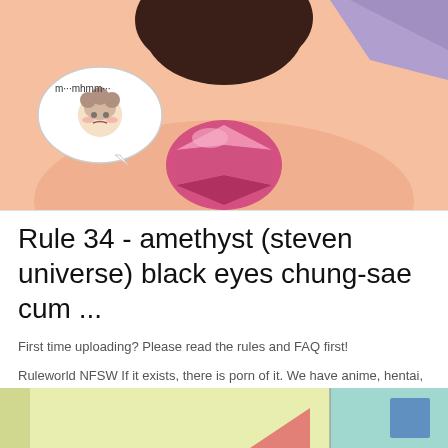[Figure (illustration): Anime/cartoon style illustration showing a close-up of a character with a pink gemstone on their torso, dark hair, and a speech bubble with a small character saying 'm...mhmm...']
Rule 34 - amethyst (steven universe) black eyes chung-sae cum ...
First time uploading? Please read the rules and FAQ first!
Ruleworld NFSW If it exists, there is porn of it. We have anime, hentai, porn, cartoons, my little pony, overwatch, pokemon, naruto, animated.
[Figure (illustration): Partial view of another anime/cartoon illustration at the bottom of the page showing yellow and teal/blue colored panels]